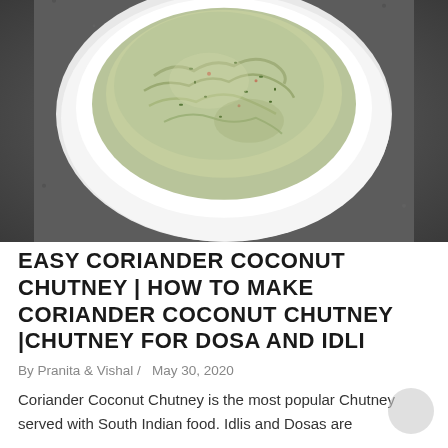[Figure (photo): Top-down photo of a white bowl filled with green coriander coconut chutney, placed on a dark granite surface]
EASY CORIANDER COCONUT CHUTNEY | HOW TO MAKE CORIANDER COCONUT CHUTNEY |CHUTNEY FOR DOSA AND IDLI
By Pranita & Vishal / May 30, 2020
Coriander Coconut Chutney is the most popular Chutney served with South Indian food. Idlis and Dosas are